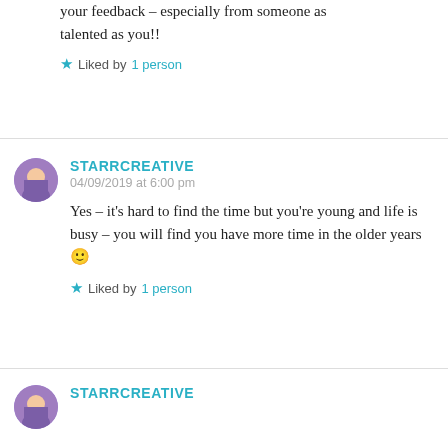your feedback – especially from someone as talented as you!!
★ Liked by 1 person
STARRCREATIVE
04/09/2019 at 6:00 pm
Yes – it's hard to find the time but you're young and life is busy – you will find you have more time in the older years 🙂
★ Liked by 1 person
STARRCREATIVE